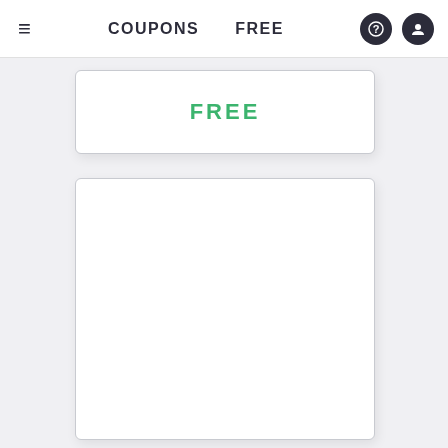≡  COUPONS  FREE
FREE
[Figure (other): Empty white card placeholder with rounded corners and border shadow]